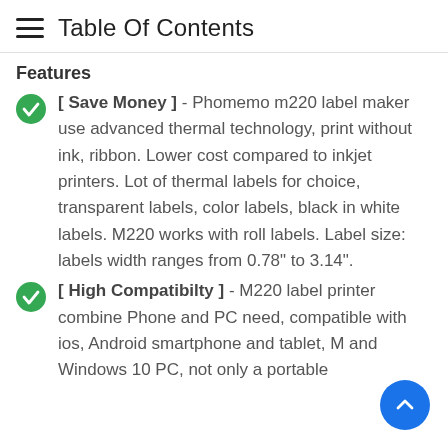Table Of Contents
Features
[ Save Money ] - Phomemo m220 label maker use advanced thermal technology, print without ink, ribbon. Lower cost compared to inkjet printers. Lot of thermal labels for choice, transparent labels, color labels, black in white labels. M220 works with roll labels. Label size: labels width ranges from 0.78" to 3.14".
[ High Compatibilty ] - M220 label printer combine Phone and PC need, compatible with ios, Android smartphone and tablet, M and Windows 10 PC, not only a portable